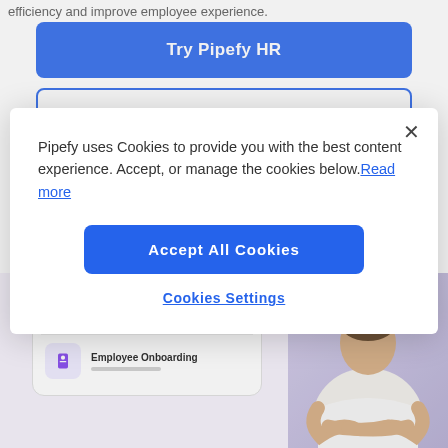efficiency and improve employee experience.
[Figure (screenshot): Blue 'Try Pipefy HR' button and a second outlined button below it on a white background page]
[Figure (screenshot): Cookie consent modal dialog with close X button, text about cookies, Accept All Cookies button, and Cookies Settings link. Background shows partial Pipefy HR page with UI screenshot and person with arms crossed.]
Pipefy uses Cookies to provide you with the best content experience. Accept, or manage the cookies below.Read more
[Figure (screenshot): Blue Accept All Cookies button]
[Figure (screenshot): Cookies Settings link]